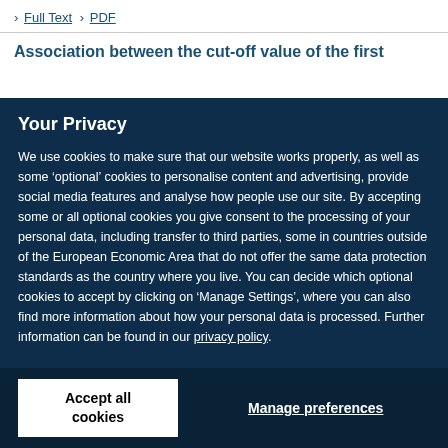> Full Text > PDF
Association between the cut-off value of the first
Your Privacy
We use cookies to make sure that our website works properly, as well as some ‘optional’ cookies to personalise content and advertising, provide social media features and analyse how people use our site. By accepting some or all optional cookies you give consent to the processing of your personal data, including transfer to third parties, some in countries outside of the European Economic Area that do not offer the same data protection standards as the country where you live. You can decide which optional cookies to accept by clicking on ‘Manage Settings’, where you can also find more information about how your personal data is processed. Further information can be found in our privacy policy.
Accept all cookies
Manage preferences